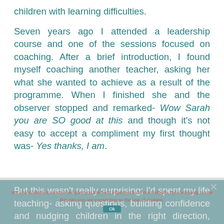children with learning difficulties.
Seven years ago I attended a leadership course and one of the sessions focused on coaching. After a brief introduction, I found myself coaching another teacher, asking her what she wanted to achieve as a result of the programme. When I finished she and the observer stopped and remarked- Wow Sarah you are SO good at this and though it's not easy to accept a compliment my first thought was- Yes thanks, I am.
But this wasn't really surprising; I'd spent my life teaching- asking questions, building confidence and nudging children in the right direction, finding joy in those lightbulb